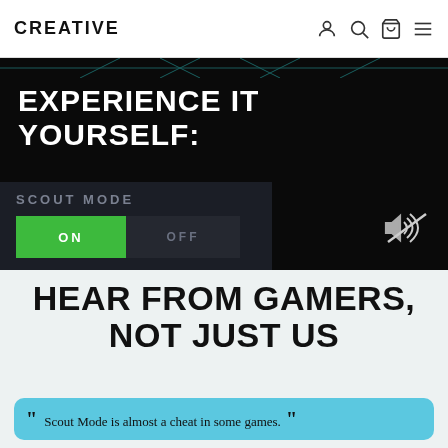CREATIVE
EXPERIENCE IT YOURSELF:
SCOUT MODE
ON  OFF
HEAR FROM GAMERS, NOT JUST US
" Scout Mode is almost a cheat in some games. "